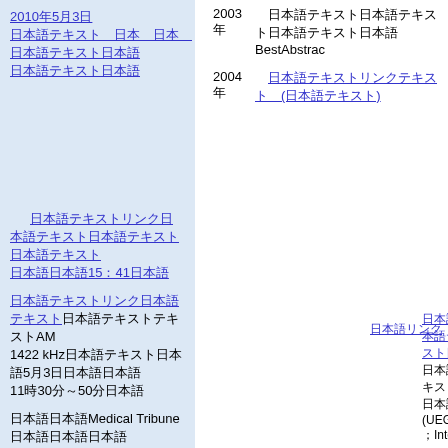2010年5月3日 日本語リンクテキスト 日本語テキスト日本語
日本語テキストリンク 日本語テキスト15：41日本
日本語テキストリンク日本語テキストテキストAM 1422 kHz日本語テキスト5月3日日本語 11時30分～50分日本語
日本語Medical Tribune日本語テキスト 日本語テキスト日本語
2003年　日本語テキスト日本語テキスト日本語テキストBestAbstrac
2004年　日本語テキストリンクテキスト (日本語テキスト)
日本語リンク
日本語テキストリンク日本語テキスト日本語テキスト日本語テキスト日本語テキスト日本語テキスト25日本語テキスト日本語リンク(AGA;Americ 日本語テキスト 日本語テキスト日本語(UEGW;United Europea International Symposium on Regulato